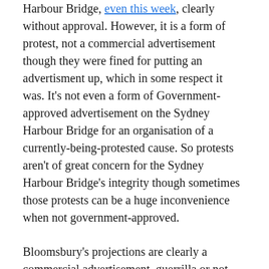Harbour Bridge, even this week, clearly without approval. However, it is a form of protest, not a commercial advertisement though they were fined for putting an advertisment up, which in some respect it was. It's not even a form of Government-approved advertisement on the Sydney Harbour Bridge for an organisation of a currently-being-protested cause. So protests aren't of great concern for the Sydney Harbour Bridge's integrity though sometimes those protests can be a huge inconvenience when not government-approved.
Bloomsbury's projections are clearly a commercial advertisement, guerrilla or not and is using the Sydney Harbour Bridge pylons as a billboard regardless if approval was given or not.
Bloomsbury should have know better given the current climate for this sort of activity...